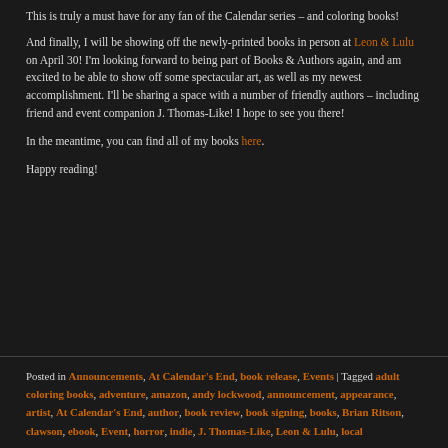This is truly a must have for any fan of the Calendar series – and coloring books!
And finally, I will be showing off the newly-printed books in person at Leon & Lulu on April 30! I'm looking forward to being part of Books & Authors again, and am excited to be able to show off some spectacular art, as well as my newest accomplishment. I'll be sharing a space with a number of friendly authors – including friend and event companion J. Thomas-Like! I hope to see you there!
In the meantime, you can find all of my books here.
Happy reading!
Posted in Announcements, At Calendar's End, book release, Events | Tagged adult coloring books, adventure, amazon, andy lockwood, announcement, appearance, artist, At Calendar's End, author, book review, book signing, books, Brian Ritson, clawson, ebook, Event, horror, indie, J. Thomas-Like, Leon & Lulu, local